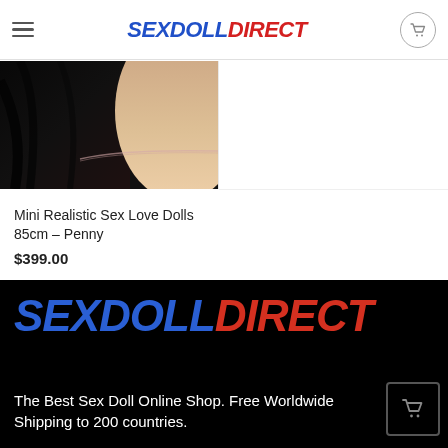SEXDOLLDIRECT
[Figure (photo): Close-up product photo showing dark hair and light skin with pink lace fabric of a sex doll]
Mini Realistic Sex Love Dolls 85cm – Penny
$399.00
[Figure (logo): SEXDOLLDIRECT logo in large italic bold text, SEXDOLL in blue and DIRECT in red, on black background]
The Best Sex Doll Online Shop. Free Worldwide Shipping to 200 countries.